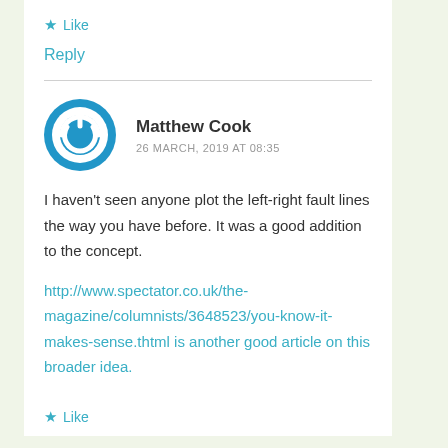★ Like
Reply
Matthew Cook
26 MARCH, 2019 AT 08:35
I haven't seen anyone plot the left-right fault lines the way you have before. It was a good addition to the concept.
http://www.spectator.co.uk/the-magazine/columnists/3648523/you-know-it-makes-sense.thtml is another good article on this broader idea.
★ Like